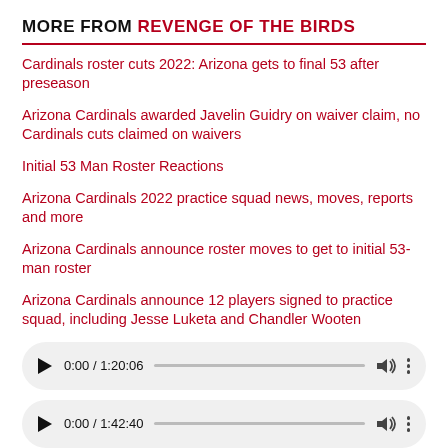MORE FROM REVENGE OF THE BIRDS
Cardinals roster cuts 2022: Arizona gets to final 53 after preseason
Arizona Cardinals awarded Javelin Guidry on waiver claim, no Cardinals cuts claimed on waivers
Initial 53 Man Roster Reactions
Arizona Cardinals 2022 practice squad news, moves, reports and more
Arizona Cardinals announce roster moves to get to initial 53-man roster
Arizona Cardinals announce 12 players signed to practice squad, including Jesse Luketa and Chandler Wooten
[Figure (other): Audio player showing 0:00 / 1:20:06 with play button, progress bar, volume icon and more options]
[Figure (other): Audio player showing 0:00 / 1:42:40 with play button, progress bar, volume icon and more options]